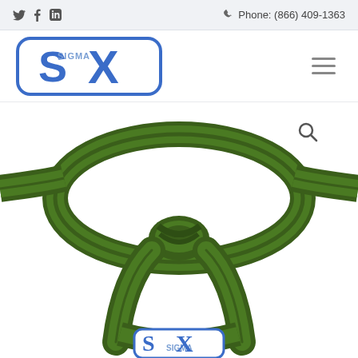Social: Twitter, Facebook, LinkedIn | Phone: (866) 409-1363
[Figure (logo): Sigma X (SX) logo — blue rounded rectangle with large S and X letters and small SIGMA text]
[Figure (photo): 3D rendered green Six Sigma green belt tied in a karate-style knot, with a smaller Sigma X logo visible at the bottom]